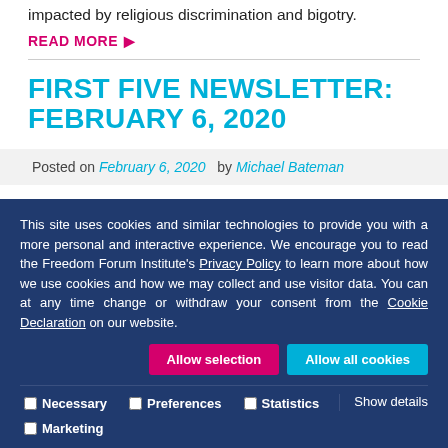impacted by religious discrimination and bigotry.
READ MORE ▶
FIRST FIVE NEWSLETTER: FEBRUARY 6, 2020
Posted on February 6, 2020 by Michael Bateman
This site uses cookies and similar technologies to provide you with a more personal and interactive experience. We encourage you to read the Freedom Forum Institute's Privacy Policy to learn more about how we use cookies and how we may collect and use visitor data. You can at any time change or withdraw your consent from the Cookie Declaration on our website.
Allow selection | Allow all cookies
Necessary | Preferences | Statistics | Marketing | Show details